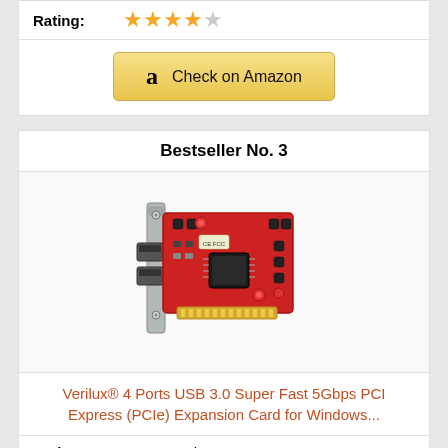Rating:
[Figure (other): 4 out of 5 stars rating display]
[Figure (other): Check on Amazon button with Amazon logo]
Bestseller No. 3
[Figure (photo): Red PCIe USB 3.0 expansion card with metal bracket, 4 ports]
Verilux® 4 Ports USB 3.0 Super Fast 5Gbps PCI Express (PCIe) Expansion Card for Windows...
Rating: No ratings yet